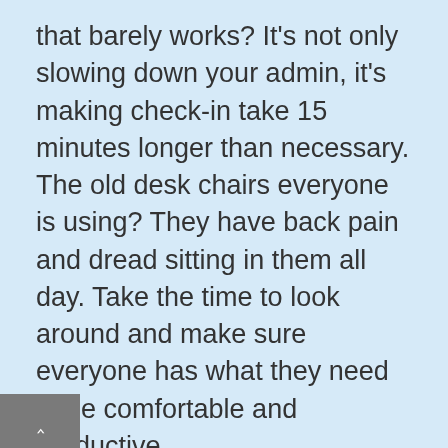that barely works? It's not only slowing down your admin, it's making check-in take 15 minutes longer than necessary. The old desk chairs everyone is using? They have back pain and dread sitting in them all day. Take the time to look around and make sure everyone has what they need to be comfortable and productive.
Of course, this is where we mention software. Anymore, the kind of software you use in your office can make your staff have really great days, or really miserable